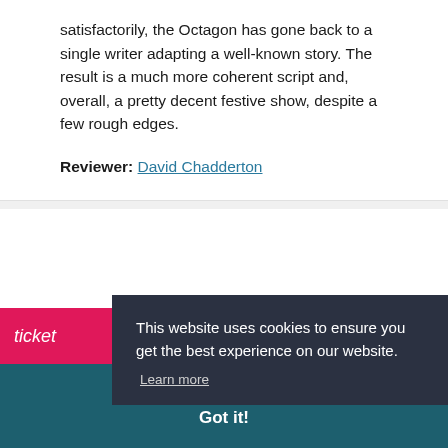satisfactorily, the Octagon has gone back to a single writer adapting a well-known story. The result is a much more coherent script and, overall, a pretty decent festive show, despite a few rough edges.
Reviewer: David Chadderton
ticket
This website uses cookies to ensure you get the best experience on our website.
Learn more
Got it!